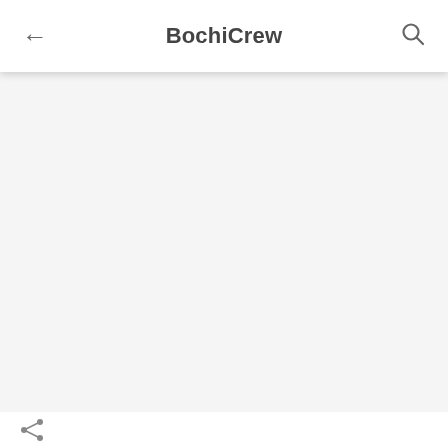BochiCrew
[Figure (screenshot): Empty content area with light gray background below the app bar]
[Figure (other): Bottom action bar with share icon and partially visible text]